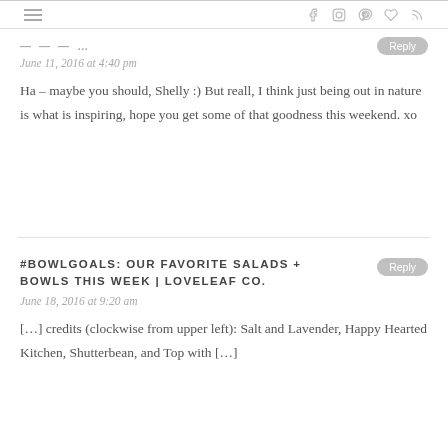navigation bar with hamburger menu and social icons
commenter name (partially visible, truncated)
June 11, 2016 at 4:40 pm
Ha – maybe you should, Shelly :) But reall, I think just being out in nature is what is inspiring, hope you get some of that goodness this weekend. xo
#BOWLGOALS: OUR FAVORITE SALADS + BOWLS THIS WEEK | LOVELEAF CO.
June 18, 2016 at 9:20 am
[…] credits (clockwise from upper left): Salt and Lavender, Happy Hearted Kitchen, Shutterbean, and Top with […]